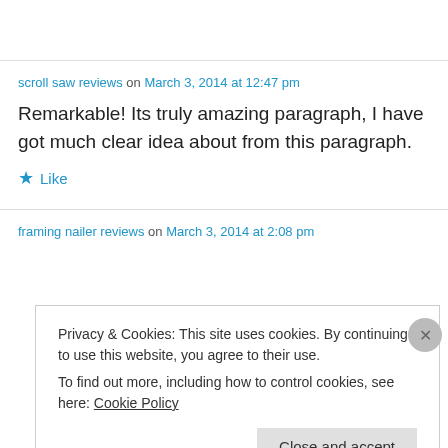scroll saw reviews on March 3, 2014 at 12:47 pm
Remarkable! Its truly amazing paragraph, I have got much clear idea about from this paragraph.
★ Like
framing nailer reviews on March 3, 2014 at 2:08 pm
Privacy & Cookies: This site uses cookies. By continuing to use this website, you agree to their use.
To find out more, including how to control cookies, see here: Cookie Policy
Close and accept